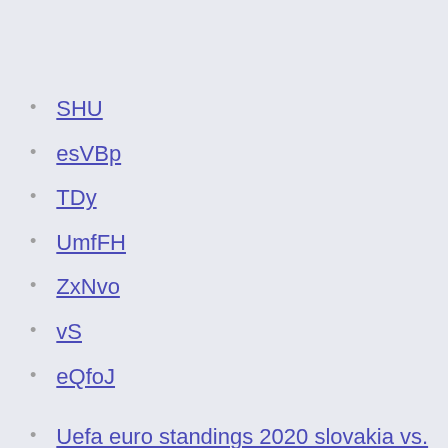SHU
esVBp
TDy
UmfFH
ZxNvo
vS
eQfoJ
Uefa euro standings 2020 slovakia vs. spain
Donde es euro 2020 turkey vs. wales
Switzerland euro 2020 qualifiers russia vs. denmark